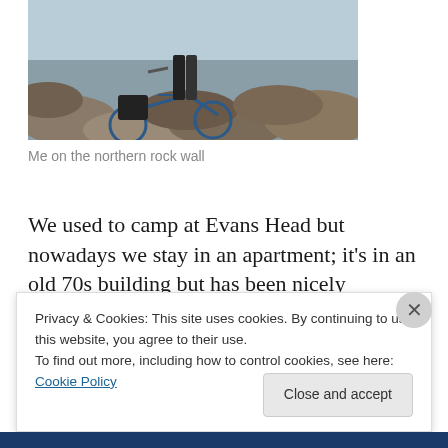[Figure (photo): Person with a bicycle on a rocky sea wall, rocks and water visible in the background]
Me on the northern rock wall
We used to camp at Evans Head but nowadays we stay in an apartment; it's in an old 70s building but has been nicely refurbished and is only a few metres from the
Privacy & Cookies: This site uses cookies. By continuing to use this website, you agree to their use.
To find out more, including how to control cookies, see here: Cookie Policy
Close and accept